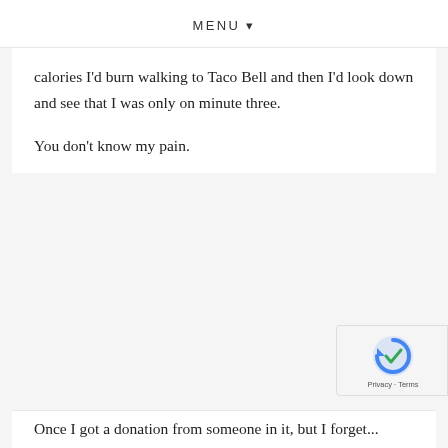MENU ▾
calories I'd burn walking to Taco Bell and then I'd look down and see that I was only on minute three.

You don't know my pain.
Once I got a donation from someone in it, but I forget...